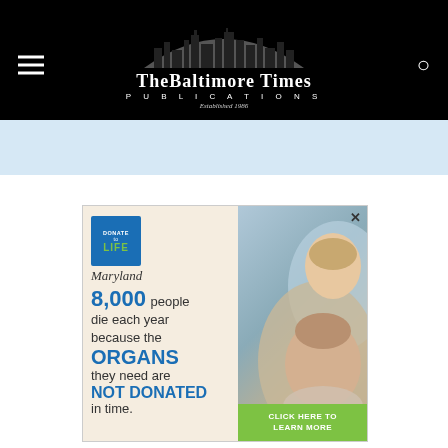[Figure (logo): The Baltimore Times Publications logo with city skyline on black background, established 1986]
[Figure (infographic): Donate Life Maryland advertisement: '8,000 people die each year because the ORGANS they need are NOT DONATED in time.' with photo of two women (young and elderly) and green 'CLICK HERE TO LEARN MORE' button]